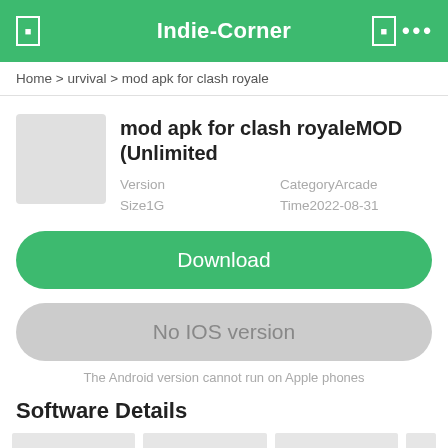Indie-Corner
Home > urvival > mod apk for clash royale
mod apk for clash royaleMOD (Unlimited
Version￼   Category￼Arcade   Size￼1G   Time￼2022-08-31
Download
No IOS version
The Android version cannot run on Apple phones
Software Details
[Figure (photo): Bottom image strip with placeholder images]